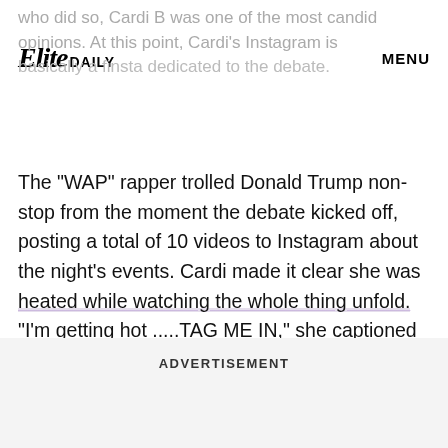Elite DAILY   MENU
who did so, Cardi B was one of the most candid opinions. At this point, Cardi's Instagram is basically a finsta dedicated to the debate.
The "WAP" rapper trolled Donald Trump non-stop from the moment the debate kicked off, posting a total of 10 videos to Instagram about the night's events. Cardi made it clear she was heated while watching the whole thing unfold. "I'm getting hot .....TAG ME IN," she captioned one video. "Maaaannnn I wish I was there," she captioned another video where she could be heard yelling at her TV.
ADVERTISEMENT